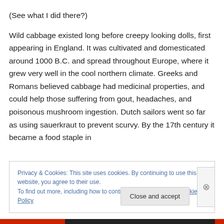(See what I did there?)

Wild cabbage existed long before creepy looking dolls, first appearing in England. It was cultivated and domesticated around 1000 B.C. and spread throughout Europe, where it grew very well in the cool northern climate. Greeks and Romans believed cabbage had medicinal properties, and could help those suffering from gout, headaches, and poisonous mushroom ingestion. Dutch sailors went so far as using sauerkraut to prevent scurvy. By the 17th century it became a food staple in
Privacy & Cookies: This site uses cookies. By continuing to use this website, you agree to their use.
To find out more, including how to control cookies, see here: Cookie Policy
Close and accept